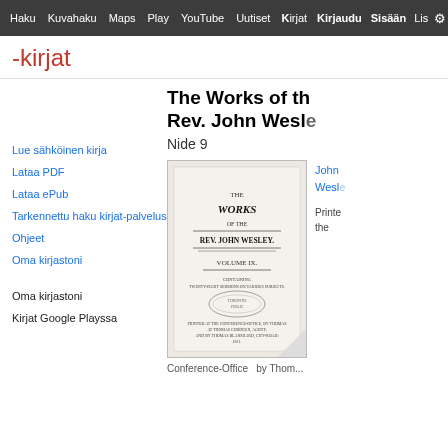Haku  Kuvahaku  Maps  Play  YouTube  Uutiset  Kirjat  Kirjaudu  Sisään  Lisää
-kirjat
Lue sähköinen kirja
Lataa PDF
Lataa ePub
Tarkennettu haku kirjat-palvelussa
Ohjeet
Oma kirjastoni
Oma kirjastoni
Kirjat Google Playssa
The Works of the Rev. John Wesley
Nide 9
[Figure (photo): Book cover of The Works of the Rev. John Wesley, Volume IX, showing title page with text: THE WORKS OF THE REV. JOHN WESLEY. VOLUME IX. with additional publication details and a library stamp.]
John Wesley
Printed ... the
Conference-Office  by Thom...